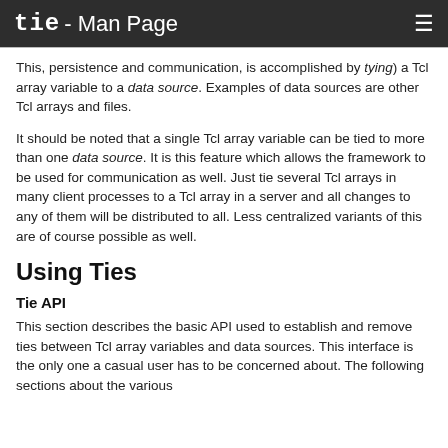tie - Man Page
This, persistence and communication, is accomplished by tying) a Tcl array variable to a data source. Examples of data sources are other Tcl arrays and files.
It should be noted that a single Tcl array variable can be tied to more than one data source. It is this feature which allows the framework to be used for communication as well. Just tie several Tcl arrays in many client processes to a Tcl array in a server and all changes to any of them will be distributed to all. Less centralized variants of this are of course possible as well.
Using Ties
Tie API
This section describes the basic API used to establish and remove ties between Tcl array variables and data sources. This interface is the only one a casual user has to be concerned about. The following sections about the various